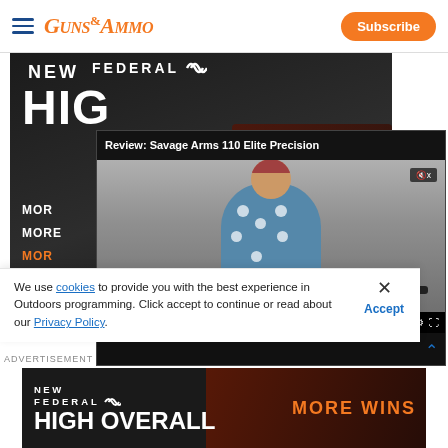Guns & Ammo - Subscribe
[Figure (screenshot): Federal ammunition advertisement with dark background showing 'NEW', 'FEDERAL' logo, 'HIGH OVERALL' text, and 'BUY NOW' call to action with ammunition imagery]
[Figure (screenshot): Embedded video player showing 'Review: Savage Arms 110 Elite Precision' with a man in a blue shirt holding a rifle, video timestamp 00:00 / 04:45, with playback controls]
We use cookies to provide you with the best experience in Outdoors programming. Click accept to continue or read about our Privacy Policy.
[Figure (screenshot): Bottom Federal ammunition banner ad showing 'NEW FEDERAL HIGH OVERALL' on left and 'MORE WINS' in orange on right with dark background and ammunition imagery]